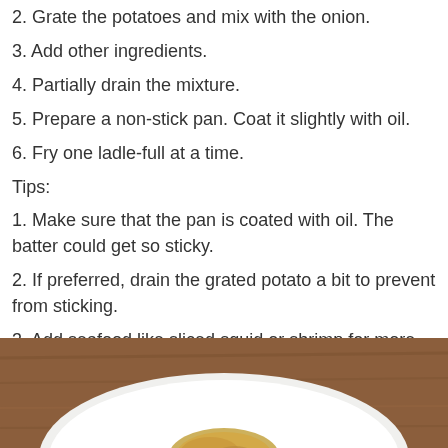2. Grate the potatoes and mix with the onion.
3. Add other ingredients.
4. Partially drain the mixture.
5. Prepare a non-stick pan. Coat it slightly with oil.
6. Fry one ladle-full at a time.
Tips:
1. Make sure that the pan is coated with oil. The batter could get so sticky.
2. If preferred, drain the grated potato a bit to prevent from sticking.
3. Add seafood like sliced squid or shrimp for more flavor.
4. Use sesame oil instead of plain cooking oil for added flavor.
[Figure (photo): A plate with cooked potato pancake on a wooden table surface, partially visible from the bottom of the page.]